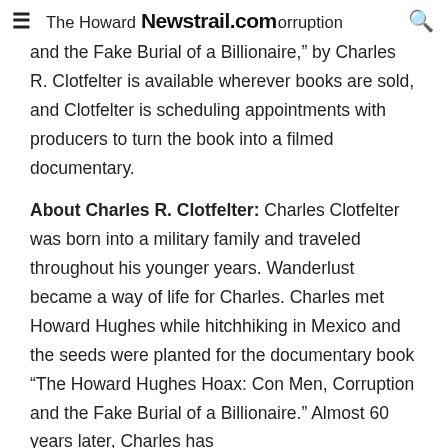≡  The Howard [Newstrail.com] orruption  🔍
and the Fake Burial of a Billionaire," by Charles R. Clotfelter is available wherever books are sold, and Clotfelter is scheduling appointments with producers to turn the book into a filmed documentary.
About Charles R. Clotfelter: Charles Clotfelter was born into a military family and traveled throughout his younger years. Wanderlust became a way of life for Charles. Charles met Howard Hughes while hitchhiking in Mexico and the seeds were planted for the documentary book “The Howard Hughes Hoax: Con Men, Corruption and the Fake Burial of a Billionaire.” Almost 60 years later, Charles has